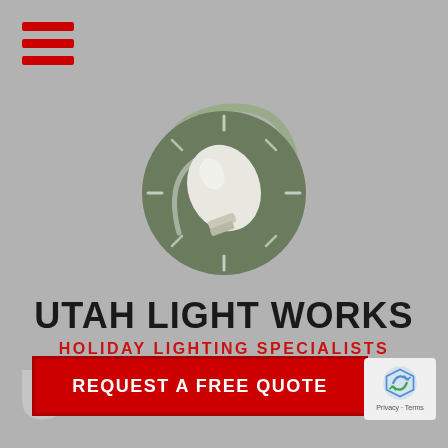[Figure (logo): Hamburger menu icon with three red horizontal bars]
[Figure (logo): Utah Light Works logo: dark olive green circle with white holiday light bulb silhouette and swirl, radiating tick marks]
UTAH LIGHT WORKS
HOLIDAY LIGHTING SPECIALISTS
[Figure (other): REQUEST A FREE QUOTE red button with white bold text]
[Figure (other): Google reCAPTCHA badge with Privacy - Terms text]